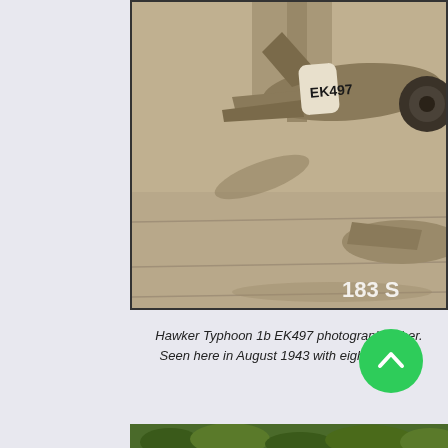[Figure (photo): Sepia-toned photograph of Hawker Typhoon 1b aircraft EK497, showing the tail section and part of another aircraft on a tarmac or airfield surface. The aircraft identification 'EK497' is visible on the fuselage. A watermark reads '183 S' in the lower right corner.]
Hawker Typhoon 1b EK497 photographed her. Seen here in August 1943 with eight 60 lb. ro
[Figure (photo): Partial view of a second photograph at the bottom of the page showing green foliage.]